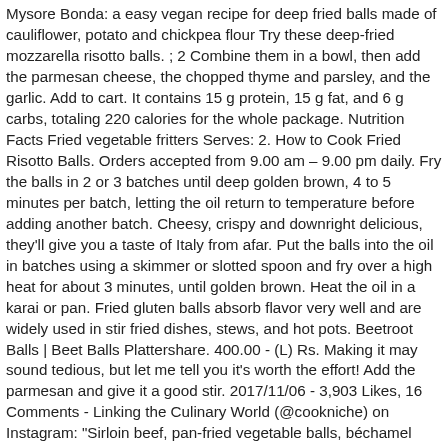Mysore Bonda: a easy vegan recipe for deep fried balls made of cauliflower, potato and chickpea flour Try these deep-fried mozzarella risotto balls. ; 2 Combine them in a bowl, then add the parmesan cheese, the chopped thyme and parsley, and the garlic. Add to cart. It contains 15 g protein, 15 g fat, and 6 g carbs, totaling 220 calories for the whole package. Nutrition Facts Fried vegetable fritters Serves: 2. How to Cook Fried Risotto Balls. Orders accepted from 9.00 am – 9.00 pm daily. Fry the balls in 2 or 3 batches until deep golden brown, 4 to 5 minutes per batch, letting the oil return to temperature before adding another batch. Cheesy, crispy and downright delicious, they'll give you a taste of Italy from afar. Put the balls into the oil in batches using a skimmer or slotted spoon and fry over a high heat for about 3 minutes, until golden brown. Heat the oil in a karai or pan. Fried gluten balls absorb flavor very well and are widely used in stir fried dishes, stews, and hot pots. Beetroot Balls | Beet Balls Plattershare. 400.00 - (L) Rs. Making it may sound tedious, but let me tell you it's worth the effort! Add the parmesan and give it a good stir. 2017/11/06 - 3,903 Likes, 16 Comments - Linking the Culinary World (@cookniche) on Instagram: "Sirloin beef, pan-fried vegetable balls, béchamel sauce covered baby eggplant and demi glace sauce…." If I told you what my husband said after one bite of these fried goat cheese balls, you'd laugh your ass off.Instead, I'll keep it PG and just say, dude, you've like totally got to